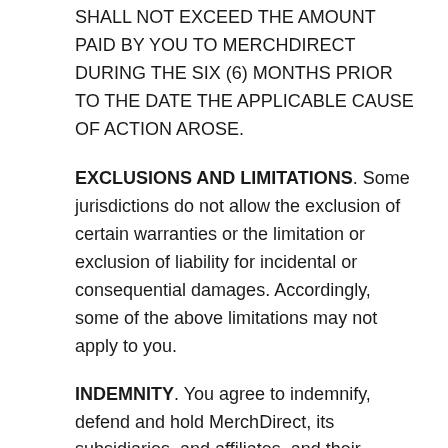SHALL NOT EXCEED THE AMOUNT PAID BY YOU TO MERCHDIRECT DURING THE SIX (6) MONTHS PRIOR TO THE DATE THE APPLICABLE CAUSE OF ACTION AROSE.
EXCLUSIONS AND LIMITATIONS. Some jurisdictions do not allow the exclusion of certain warranties or the limitation or exclusion of liability for incidental or consequential damages. Accordingly, some of the above limitations may not apply to you.
INDEMNITY. You agree to indemnify, defend and hold MerchDirect, its subsidiaries, and affiliates, and their respective officers, directors, members, managers, agents, representatives, partners and employees, harmless from any loss, liability, claim, or demand, including reasonable attorneys' fees, related to or arising out of your use of the Website (including the submission by you of any User Content), breach of